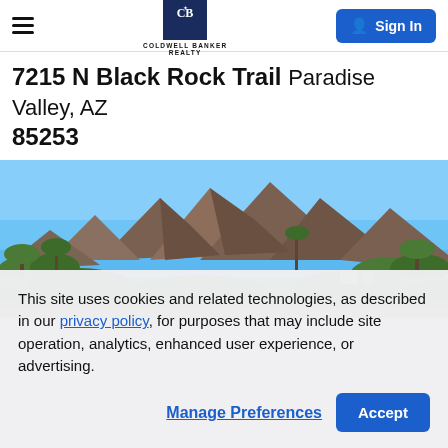Coldwell Banker Realty — Sign In
7215 N Black Rock Trail Paradise Valley, AZ 85253
[Figure (photo): Panoramic view of desert mountain landscape (Black Rock Trail area, Paradise Valley AZ) with blue sky, desert vegetation, and rocky peaks]
This site uses cookies and related technologies, as described in our privacy policy, for purposes that may include site operation, analytics, enhanced user experience, or advertising.
Manage Preferences   Accept